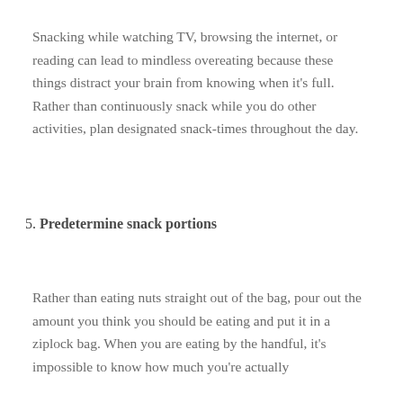Snacking while watching TV, browsing the internet, or reading can lead to mindless overeating because these things distract your brain from knowing when it's full. Rather than continuously snack while you do other activities, plan designated snack-times throughout the day.
5. Predetermine snack portions
Rather than eating nuts straight out of the bag, pour out the amount you think you should be eating and put it in a ziplock bag. When you are eating by the handful, it's impossible to know how much you're actually